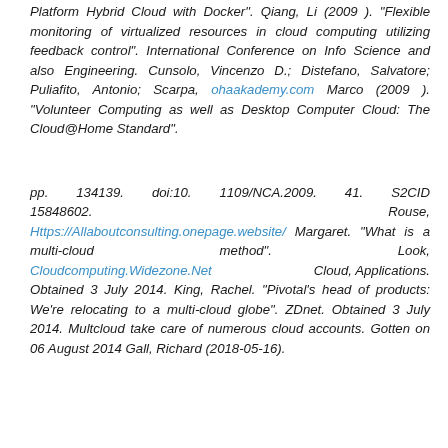Platform Hybrid Cloud with Docker". Qiang, Li (2009 ). "Flexible monitoring of virtualized resources in cloud computing utilizing feedback control". International Conference on Info Science and also Engineering. Cunsolo, Vincenzo D.; Distefano, Salvatore; Puliafito, Antonio; Scarpa, ohaakademy.com Marco (2009 ). "Volunteer Computing as well as Desktop Computer Cloud: The Cloud@Home Standard".
pp. 134139. doi:10. 1109/NCA.2009. 41. S2CID 15848602. Rouse, Https://Allaboutconsulting.onepage.website/ Margaret. "What is a multi-cloud method". Look, Cloudcomputing.Widezone.Net Cloud, Applications. Obtained 3 July 2014. King, Rachel. "Pivotal's head of products: We're relocating to a multi-cloud globe". ZDnet. Obtained 3 July 2014. Multcloud take care of numerous cloud accounts. Gotten on 06 August 2014 Gall, Richard (2018-05-16).